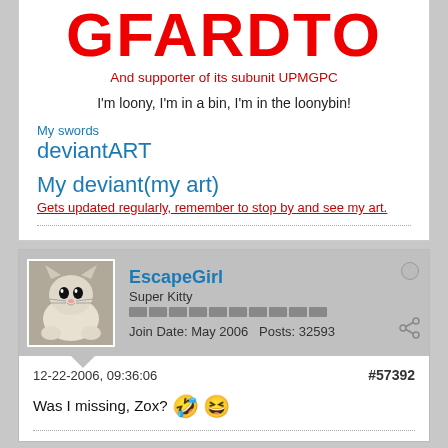GFARDTO
And supporter of its subunit UPMGPC
I'm loony, I'm in a bin, I'm in the loonybin!
My swords
deviantART
My deviant(my art)
Gets updated regularly, remember to stop by and see my art.
EscapeGirl
Super Kitty
Join Date: May 2006   Posts: 32593
12-22-2006, 09:36:06
#57392
Was I missing, Zox?